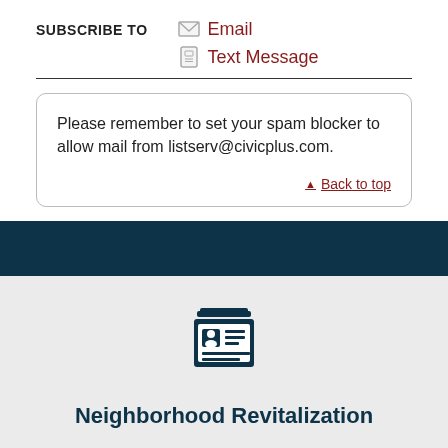SUBSCRIBE TO
Email
Text Message
Please remember to set your spam blocker to allow mail from listserv@civicplus.com.
Back to top
[Figure (illustration): Dark teal ID card / newspaper icon representing Neighborhood Revitalization]
Neighborhood Revitalization